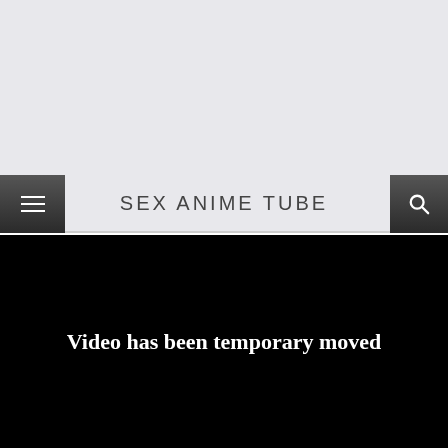SEX ANIME TUBE
Video has been temporary moved